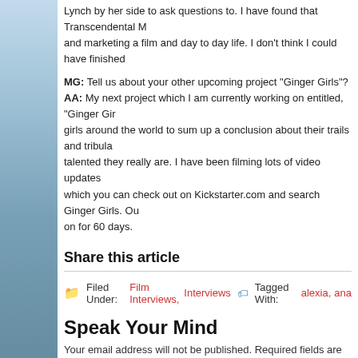Lynch by her side to ask questions to. I have found that Transcendental M and marketing a film and day to day life. I don't think I could have finished
MG: Tell us about your other upcoming project “Ginger Girls”? AA: My next project which I am currently working on entitled, “Ginger Gir girls around the world to sum up a conclusion about their trails and tribula talented they really are. I have been filming lots of video updates which you can check out on Kickstarter.com and search Ginger Girls. Ou on for 60 days.
Share this article
Filed Under: Film Interviews, Interviews 🏷 Tagged With: alexia, ana
Speak Your Mind
Your email address will not be published. Required fields are marked *
Comment *